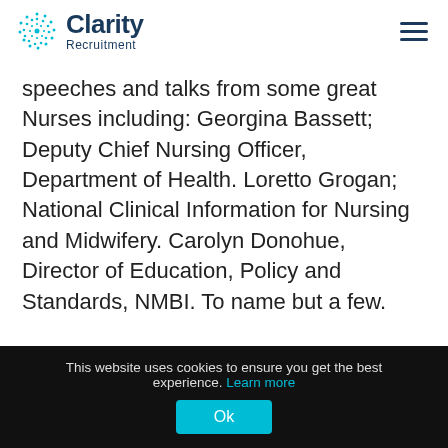Clarity Recruitment
speeches and talks from some great Nurses including: Georgina Bassett; Deputy Chief Nursing Officer, Department of Health. Loretto Grogan; National Clinical Information for Nursing and Midwifery. Carolyn Donohue, Director of Education, Policy and Standards, NMBI. To name but a few.
This website uses cookies to ensure you get the best experience. Learn more Ok